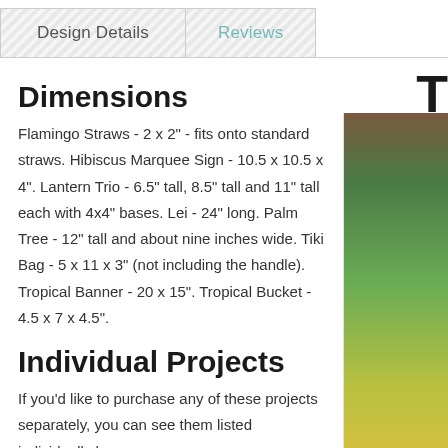Design Details
Reviews
Dimensions
Flamingo Straws - 2 x 2" - fits onto standard straws. Hibiscus Marquee Sign - 10.5 x 10.5 x 4". Lantern Trio - 6.5" tall, 8.5" tall and 11" tall each with 4x4" bases. Lei - 24" long. Palm Tree - 12" tall and about nine inches wide. Tiki Bag - 5 x 11 x 3" (not including the handle). Tropical Banner - 20 x 15". Tropical Bucket - 4.5 x 7 x 4.5".
Individual Projects
If you'd like to purchase any of these projects separately, you can see them listed individually here:
Flamingo Straws SVG Kit